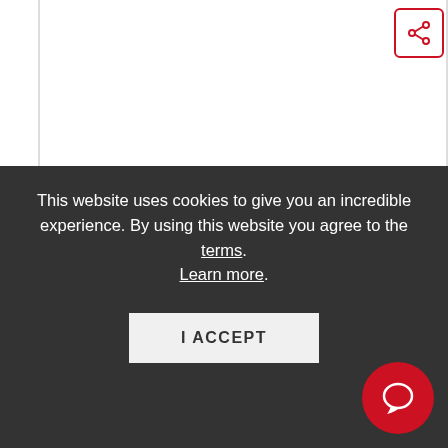[Figure (screenshot): Share button icon (less-than symbol in a rounded rectangle) in top-right corner]
SOUTHGATE LEISURE CENTRE
This website uses cookies to give you an incredible experience. By using this website you agree to the terms. Learn more.
I ACCEPT